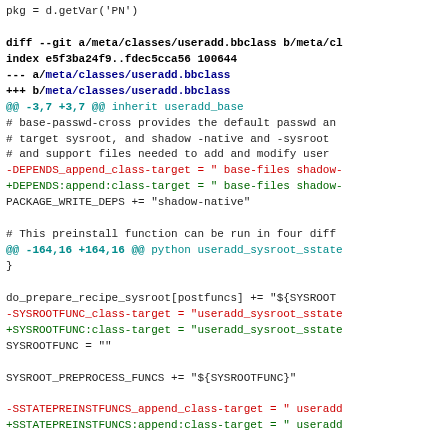[Figure (screenshot): Code diff showing changes to meta/classes/useradd.bbclass file, with removed lines in red and added lines in green, context lines in black/white, and diff headers in blue/cyan.]